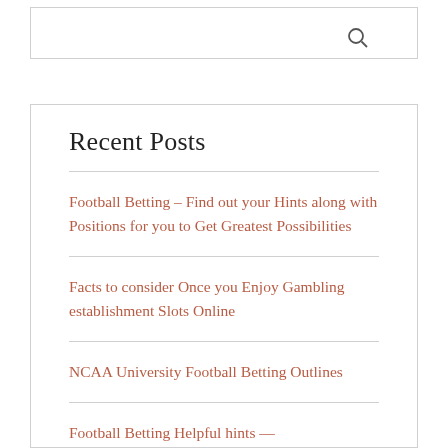Recent Posts
Football Betting – Find out your Hints along with Positions for you to Get Greatest Possibilities
Facts to consider Once you Enjoy Gambling establishment Slots Online
NCAA University Football Betting Outlines
Football Betting Helpful hints —